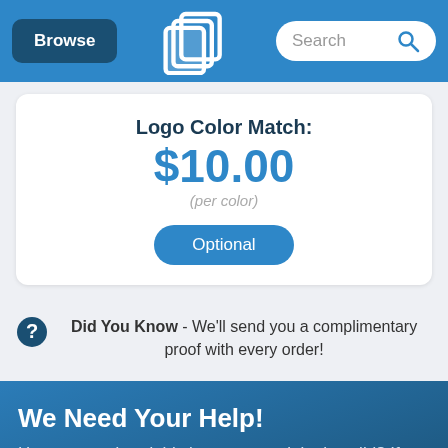Browse | QLP Logo | Search
Logo Color Match: $10.00 (per color)
Optional
Did You Know - We'll send you a complimentary proof with every order!
We Need Your Help!
Have you ordered this item or seen it in the wild? If so, could you do everyone a solid and share your thoughts? Please? Pretty please?